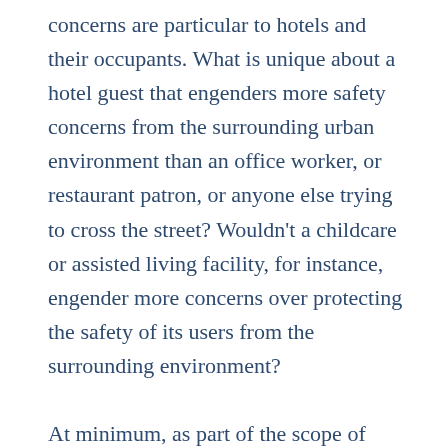concerns are particular to hotels and their occupants. What is unique about a hotel guest that engenders more safety concerns from the surrounding urban environment than an office worker, or restaurant patron, or anyone else trying to cross the street? Wouldn't a childcare or assisted living facility, for instance, engender more concerns over protecting the safety of its users from the surrounding environment?

At minimum, as part of the scope of work, it is incumbent on DCP to point out what exactly these safety concerns are, back them up with evidence, and explain how they are different from